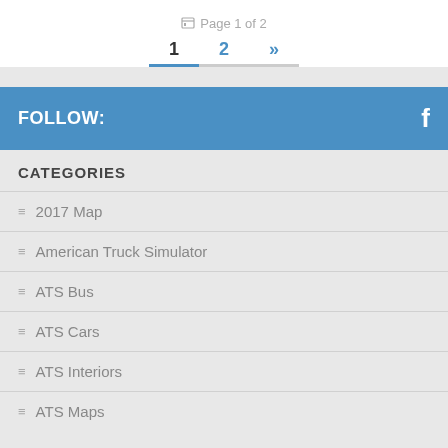Page 1 of 2
1  2  »
FOLLOW:
CATEGORIES
2017 Map
American Truck Simulator
ATS Bus
ATS Cars
ATS Interiors
ATS Maps